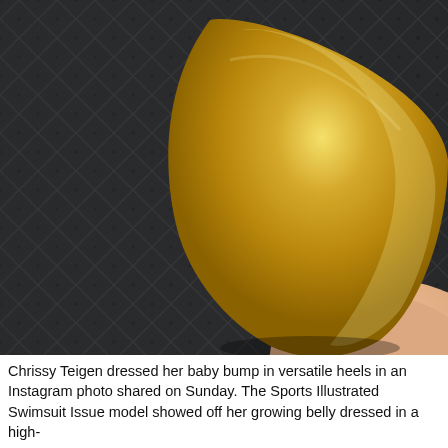[Figure (photo): Close-up photo of a gold/metallic shoe heel against a dark quilted black fabric background, with a glimpse of a skin-toned leg/foot. The gold heel is large, rounded, and metallic, contrasting sharply with the dark diamond-quilted textile.]
Chrissy Teigen dressed her baby bump in versatile heels in an Instagram photo shared on Sunday. The Sports Illustrated Swimsuit Issue model showed off her growing belly dressed in a high-